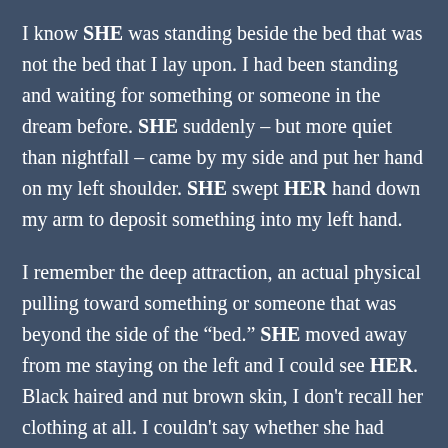I know SHE was standing beside the bed that was not the bed that I lay upon. I had been standing and waiting for something or someone in the dream before. SHE suddenly – but more quiet than nightfall – came by my side and put her hand on my left shoulder. SHE swept HER hand down my arm to deposit something into my left hand.
I remember the deep attraction, an actual physical pulling toward something or someone that was beyond the side of the “bed.” SHE moved away from me staying on the left and I could see HER. Black haired and nut brown skin, I don't recall her clothing at all. I couldn't say whether she had anything on her body. Just Black hair and nut brown skin and eyes which were closed from far away. My etheric body began to turn sideways on the “bed.”